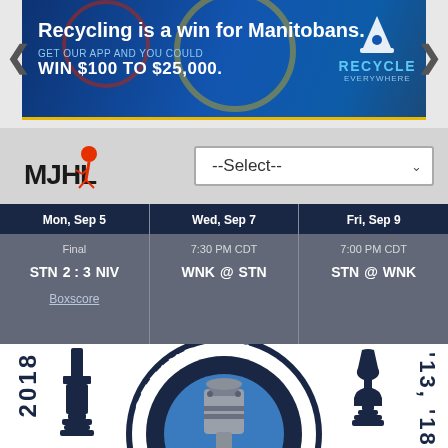[Figure (other): Advertisement banner: 'Recycling is a win for Manitobans. GET OUR APP AND YOU COULD WIN $100 TO $25,000.' with Recycle Everywhere logo on blue background with gold border]
[Figure (logo): MJHL (Manitoba Junior Hockey League) logo]
--Select--
| Mon, Sep 5 | Wed, Sep 7 | Fri, Sep 9 |
| --- | --- | --- |
| Final | 7:30 PM CDT | 7:00 PM CDT |
| STN  2 : 3  NIV | WNK  @  STN | STN  @  WNK |
| Boxscore |  |  |
[Figure (logo): Steinbach Pistons team logo — circular dark navy badge with 'STEINBACH' on top arc, 'PISTONS' on bottom arc, and piston engine graphic in center with blue accent]
2018
'13, '18